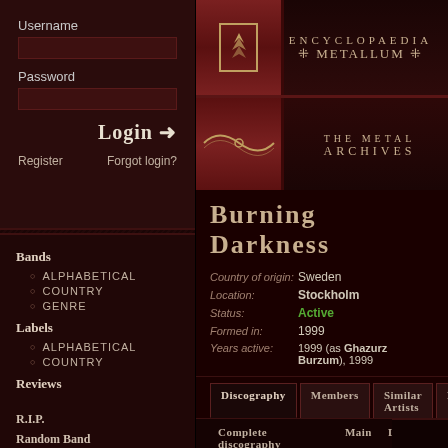Encyclopaedia Metallum — The Metal Archives
Burning Darkness
| Field | Value |
| --- | --- |
| Country of origin: | Sweden |
| Location: | Stockholm |
| Status: | Active |
| Formed in: | 1999 |
| Years active: | 1999 (as Ghazurz Burzum), 1999 |
Discography
Members
Similar Artists
Rela
Complete discography
Main
Lives
D
Bands
Alphabetical
Country
Genre
Labels
Alphabetical
Country
Reviews
R.I.P.
Random Band
User rankings
News archive